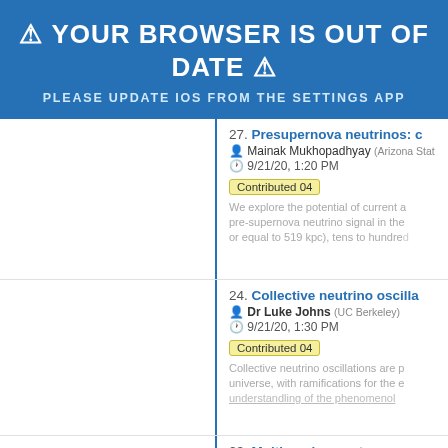⚠ YOUR BROWSER IS OUT OF DATE ⚠
PLEASE UPDATE IOS FROM THE SETTINGS APP
27. Presupernova neutrinos: c... | Mainak Mukhopadhyay (Arizona Stat...) | 9/21/20, 1:20 PM | Contributed 04 | We explore the potential of current a... pre-supernova neutrino signal in the... or equal to 519 kpc), tens to hundre...
24. Collective neutrino oscilla... | Dr Luke Johns (UC Berkeley) | 9/21/20, 1:30 PM | Contributed 04 | Collective neutrino oscillations are p... universe, with ramifications for the e... understandling of the phenomenol...
23. Multi-angle quantum mar... | Dr Ermal Pranaj (University of Califo...
Loading [MathJax]/extensions/MathMenu.js